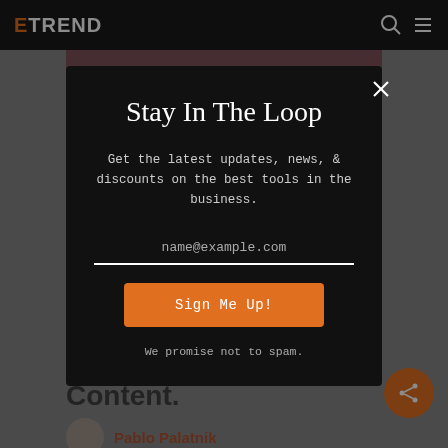ETREND
[Figure (screenshot): Website screenshot with modal popup overlay. Background shows a dark navigation bar with ETREND logo and search/menu icons, a dark reddish-purple header image area, and partially visible article content below. A modal dialog box with black background is overlaid in the center.]
Stay In The Loop
Get the latest updates, news, & discounts on the best tools in the business.
name@example.com
Sign Me Up!
We promise not to spam.
Content.
Pablo Palatnik